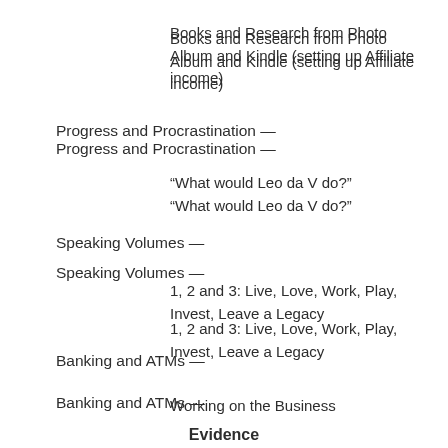Books and Research from Photo Album and Kindle (setting up Affiliate income)
Progress and Procrastination —
“What would Leo da V do?”
Speaking Volumes —
1, 2 and 3: Live, Love, Work, Play, Invest, Leave a Legacy
Banking and ATMs —
Working on the Business
Evidence